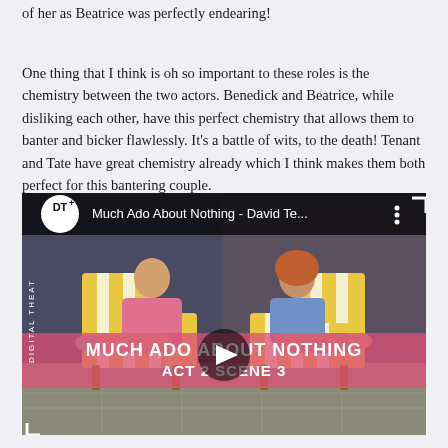of her as Beatrice was perfectly endearing!
One thing that I think is oh so important to these roles is the chemistry between the two actors. Benedick and Beatrice, while disliking each other, have this perfect chemistry that allows them to banter and bicker flawlessly. It's a battle of wits, to the death! Tenant and Tate have great chemistry already which I think makes them both perfect for this bantering couple.
[Figure (screenshot): Video thumbnail from Digital Theatre Plus showing 'Much Ado About Nothing - David Te...' with two actors seated on yellow striped lounge chairs. Text overlay reads 'MUCH ADO ABOUT NOTHING ACT 2 SCENE 3'. A play button is visible in the center. The Digital Theatre+ logo (DT+) appears in the top left with 'DIGITAL THEATRE' written vertically on the left side.]